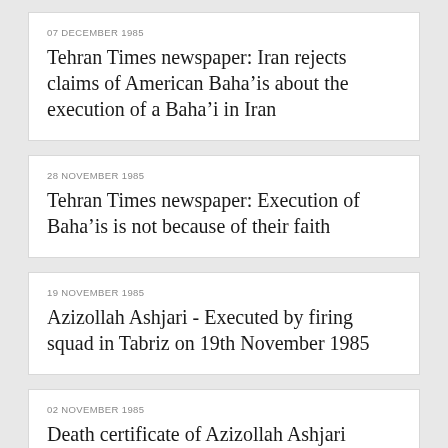07 DECEMBER 1985
Tehran Times newspaper: Iran rejects claims of American Baha’is about the execution of a Baha’i in Iran
28 NOVEMBER 1985
Tehran Times newspaper: Execution of Baha’is is not because of their faith
19 NOVEMBER 1985
Azizollah Ashjari - Executed by firing squad in Tabriz on 19th November 1985
02 NOVEMBER 1985
Death certificate of Azizollah Ashjari
12 OCTOBER 1985